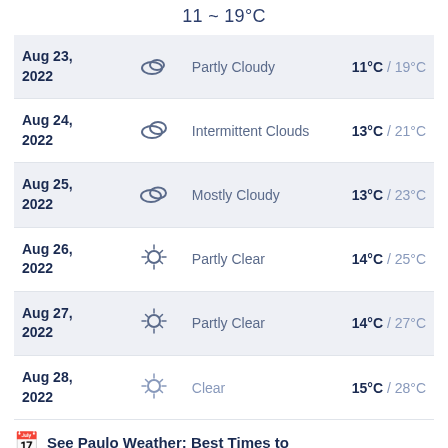11 ~ 19°C
| Date | Icon | Description | Temperature |
| --- | --- | --- | --- |
| Aug 23, 2022 | Partly Cloudy icon | Partly Cloudy | 11°C / 19°C |
| Aug 24, 2022 | Intermittent Clouds icon | Intermittent Clouds | 13°C / 21°C |
| Aug 25, 2022 | Mostly Cloudy icon | Mostly Cloudy | 13°C / 23°C |
| Aug 26, 2022 | Partly Clear icon | Partly Clear | 14°C / 25°C |
| Aug 27, 2022 | Partly Clear icon | Partly Clear | 14°C / 27°C |
| Aug 28, 2022 | Clear icon | Clear | 15°C / 28°C |
See Paulo Weather: Best Times to